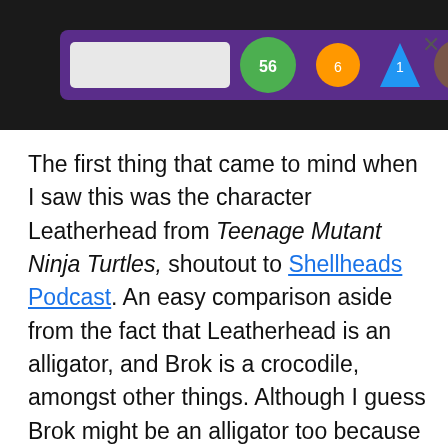[Figure (screenshot): A cropped screenshot showing a dark interface with colorful emoji/icon buttons on a purple background, partially visible at the top of the page. An X close button is visible on the right side.]
The first thing that came to mind when I saw this was the character Leatherhead from Teenage Mutant Ninja Turtles, shoutout to Shellheads Podcast. An easy comparison aside from the fact that Leatherhead is an alligator, and Brok is a crocodile, amongst other things. Although I guess Brok might be an alligator too because he is an Investi"GATOR."